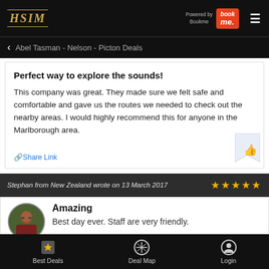HSIM - Powered by Bookme
Abel Tasman - Nelson - Picton Deals
Perfect way to explore the sounds!
This company was great. They made sure we felt safe and comfortable and gave us the routes we needed to check out the nearby areas. I would highly recommend this for anyone in the Marlborough area.
Share Link
Stephan from New Zealand wrote on 13 March 2017
Amazing
Best day ever. Staff are very friendly.
Best Deals | Deal Map | Login